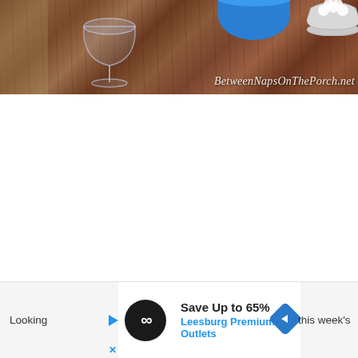[Figure (photo): Photo of a wood table surface with a wine glass (empty, clear), a blue bowl/container, and a white bowl with cotton balls. Watermark text 'BetweenNapsOnThePorch.net' overlaid in italic white font at bottom right.]
Looking [...]  this week's [...]